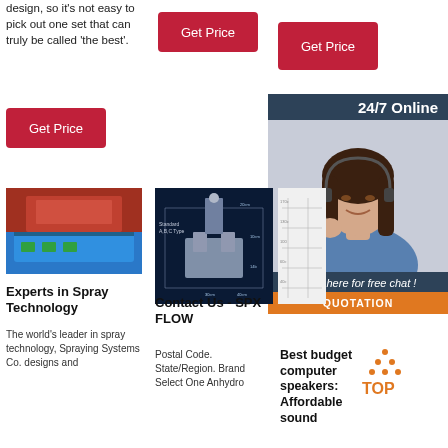design, so it's not easy to pick out one set that can truly be called 'the best'.
[Figure (other): Red 'Get Price' button (center column, top)]
[Figure (other): Red 'Get Price' button (right column, top)]
[Figure (other): 24/7 Online customer service representative banner with 'Click here for free chat!' text and orange QUOTATION button]
[Figure (other): Red 'Get Price' button (left column, middle)]
[Figure (photo): Industrial spray/printing machine on blue surface in factory]
[Figure (engineering-diagram): Technical diagram of Standard A,B,C Type spray equipment on dark blue background]
[Figure (engineering-diagram): Partial engineering schematic drawing]
Experts in Spray Technology
The world's leader in spray technology, Spraying Systems Co. designs and
Contact Us - SPX FLOW
Postal Code. State/Region. Brand Select One Anhydro
Best budget computer speakers: Affordable sound
[Figure (logo): TOP logo with orange triangle/arrow graphic]